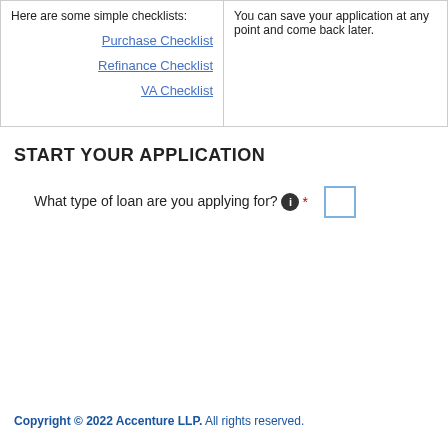Here are some simple checklists:
Purchase Checklist
Refinance Checklist
VA Checklist
You can save your application at any point and come back later.
START YOUR APPLICATION
What type of loan are you applying for? *
Copyright © 2022 Accenture LLP. All rights reserved.